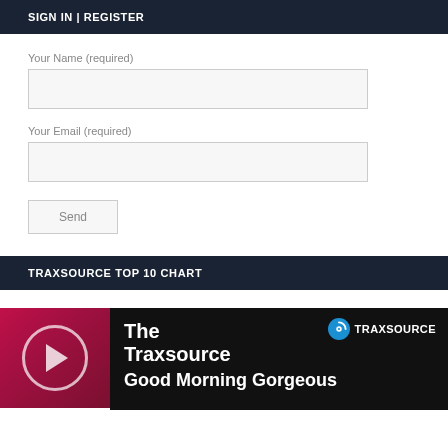SIGN IN | REGISTER
Your Name (required)
Your Email (required)
Send
TRAXSOURCE TOP 10 CHART
[Figure (other): Traxsource Top 10 Chart widget showing album art thumbnail on pink/red background with play button, and black panel with Traxsource logo and text 'The Traxsource Good Morning Gorgeous']